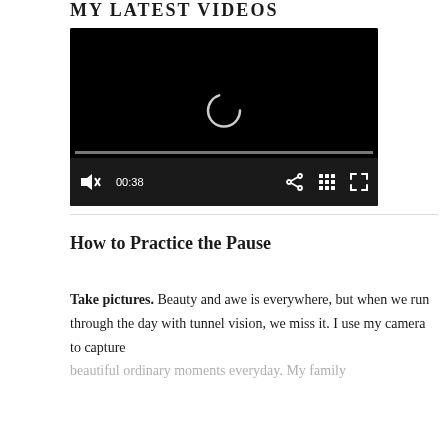MY LATEST VIDEOS
[Figure (screenshot): A video player with black background showing a loading spinner, progress bar, and controls including mute button, timestamp 00:38, share, grid, and fullscreen icons.]
How to Practice the Pause
Take pictures. Beauty and awe is everywhere, but when we run through the day with tunnel vision, we miss it. I use my camera to capture beautiful ordinary moments everyday. My family